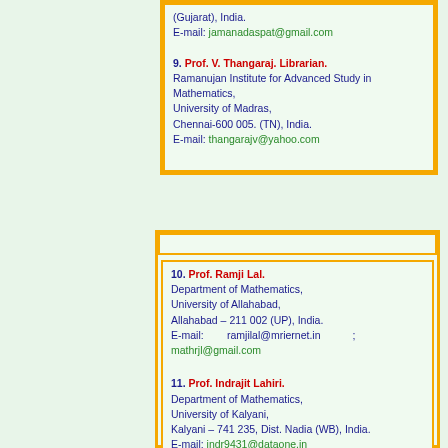(Gujarat), India. E-mail: jamanadaspat@gmail.com
9. Prof. V. Thangaraj. Librarian.
Ramanujan Institute for Advanced Study in Mathematics,
University of Madras,
Chennai-600 005. (TN), India.
E-mail: thangarajv@yahoo.com
10. Prof. Ramji Lal.
Department of Mathematics,
University of Allahabad,
Allahabad – 211 002 (UP), India.
E-mail: ramjilal@mriernet.in ; mathrjl@gmail.com
11. Prof. Indrajit Lahiri.
Department of Mathematics,
University of Kalyani,
Kalyani – 741 235, Dist. Nadia (WB), India.
E-mail: indr9431@dataone.in
12. Prof. S. Arumugam.